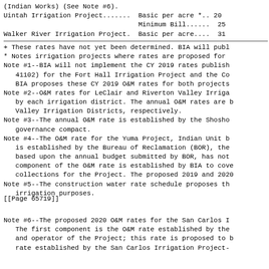(Indian Works) (See Note #6).
Uintah Irrigation Project....... Basic per acre *.. 20
                                 Minimum Bill...... 25
Walker River Irrigation Project. Basic per acre.... 31
+ These rates have not yet been determined. BIA will publ
* Notes irrigation projects where rates are proposed for
Note #1--BIA will not implement the CY 2019 rates publish
   41102) for the Fort Hall Irrigation Project and the Co
   BIA proposes these CY 2019 O&M rates for both projects
Note #2--O&M rates for LeClair and Riverton Valley Irriga
   by each irrigation district. The annual O&M rates are b
   Valley Irrigation Districts, respectively.
Note #3--The annual O&M rate is established by the Shosho
   governance compact.
Note #4--The O&M rate for the Yuma Project, Indian Unit b
   is established by the Bureau of Reclamation (BOR), the
   based upon the annual budget submitted by BOR, has not
   component of the O&M rate is established by BIA to cove
   collections for the Project. The proposed 2019 and 2020
Note #5--The construction water rate schedule proposes th
   irrigation purposes.
[[Page 65719]]
Note #6--The proposed 2020 O&M rates for the San Carlos I
   The first component is the O&M rate established by the
   and operator of the Project; this rate is proposed to b
   rate established by the San Carlos Irrigation Project-